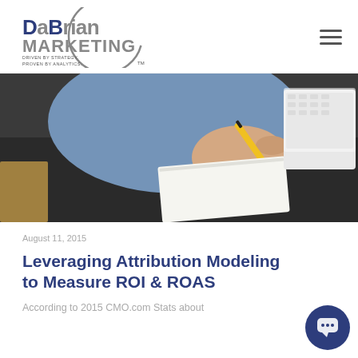[Figure (logo): DaBrian Marketing logo — dark blue text 'DaBrian Marketing' with circular grey arc and tagline 'Driven by Strategy. Proven by Analytics.']
[Figure (photo): Person writing on a notepad with a yellow pencil, a laptop keyboard visible in the background, on a dark desk surface.]
August 11, 2015
Leveraging Attribution Modeling to Measure ROI & ROAS
According to 2015 CMO.com Stats about